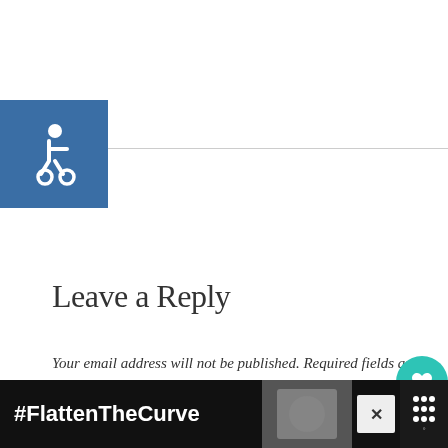[Figure (logo): Blue square with white accessibility (wheelchair) icon]
Leave a Reply
Your email address will not be published. Required fields are marked *
Comment *
[Figure (other): Teal circular heart/like button with count 1 and share button]
[Figure (other): What's Next banner: Aleve PM Only 47¢ After...]
[Figure (other): #FlattenTheCurve advertisement bar at bottom]